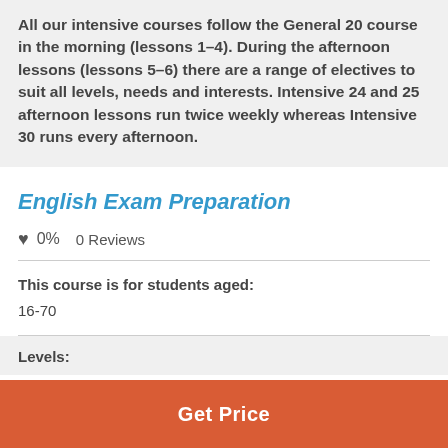All our intensive courses follow the General 20 course in the morning (lessons 1–4). During the afternoon lessons (lessons 5–6) there are a range of electives to suit all levels, needs and interests. Intensive 24 and 25 afternoon lessons run twice weekly whereas Intensive 30 runs every afternoon.
English Exam Preparation
♥ 0%   0 Reviews
This course is for students aged:
16-70
Levels:
Get Price